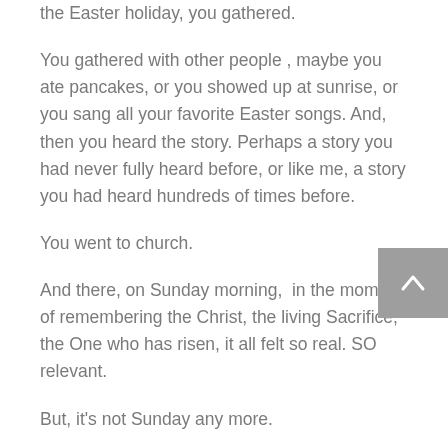the Easter holiday, you gathered.
You gathered with other people , maybe you ate pancakes, or you showed up at sunrise, or you sang all your favorite Easter songs. And, then you heard the story. Perhaps a story you had never fully heard before, or like me, a story you had heard hundreds of times before.
You went to church.
And there, on Sunday morning,  in the moment of remembering the Christ, the living Sacrifice, the One who has risen, it all felt so real. SO relevant.
But, it's not Sunday any more.
This cloudy Monday morning greets us, and